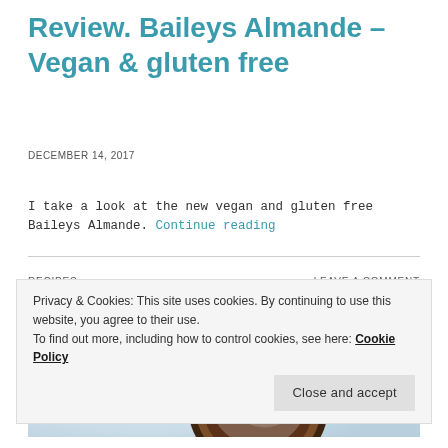Review. Baileys Almande – Vegan & gluten free
DECEMBER 14, 2017
I take a look at the new vegan and gluten free Baileys Almande. Continue reading
RECIPES
LEAVE A COMMENT
[Figure (photo): Photo of chocolate sandwich cookies dusted with powdered sugar, stacked on a light blue background]
Privacy & Cookies: This site uses cookies. By continuing to use this website, you agree to their use.
To find out more, including how to control cookies, see here: Cookie Policy
Close and accept